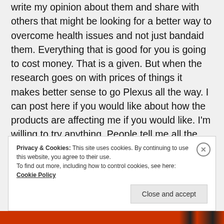write my opinion about them and share with others that might be looking for a better way to overcome health issues and not just bandaid them. Everything that is good for you is going to cost money. That is a given. But when the research goes on with prices of things it makes better sense to go Plexus all the way. I can post here if you would like about how the products are affecting me if you would like. I'm willing to try anything. People tell me all the time I am a pretty person but for me because of so many things I suffer from I don't feel pretty. That really sucks! No one should have to feel ugly because of health issues. Do you think?
Privacy & Cookies: This site uses cookies. By continuing to use this website, you agree to their use. To find out more, including how to control cookies, see here: Cookie Policy
Close and accept